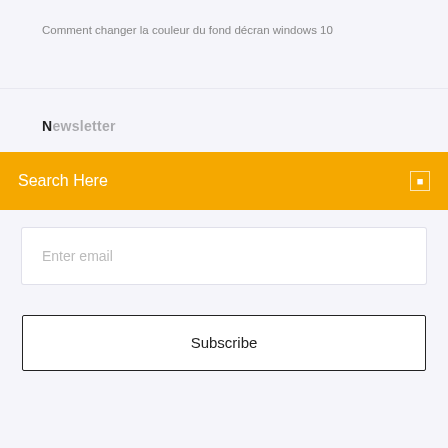Comment changer la couleur du fond décran windows 10
Newsletter
Search Here
Enter email
Subscribe